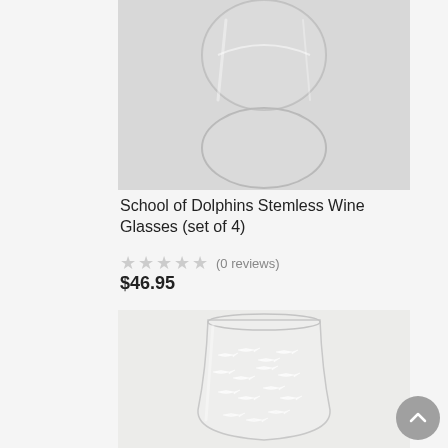[Figure (photo): Close-up photo of a clear stemless wine glass against a light grey background, showing the base and bowl of the glass]
School of Dolphins Stemless Wine Glasses (set of 4)
★★★★★ (0 reviews)
$46.95
[Figure (photo): Photo of a clear stemless wine glass with etched school of fish design, on a light grey background]